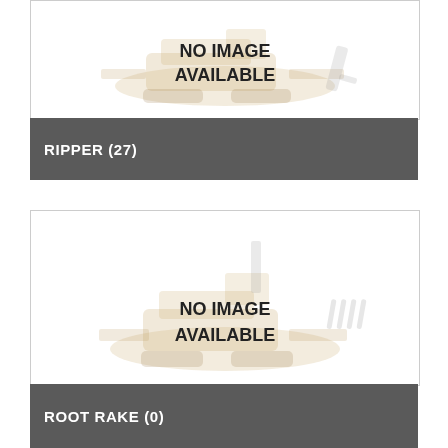[Figure (illustration): No Image Available placeholder with faded construction machine (paver/ripper) silhouette in background]
RIPPER (27)
[Figure (illustration): No Image Available placeholder with faded construction machine (paver/root rake) silhouette in background]
ROOT RAKE (0)